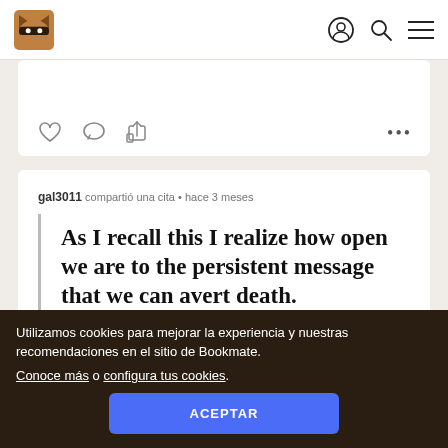Bookmate [logo] [user icon] [search icon] [menu icon]
[Figure (other): Action icons: heart, comment bubble, share]
gal3011 compartió una cita • hace 3 meses
As I recall this I realize how open we are to the persistent message that we can avert death. And to its primitive correlative, the...
Utilizamos cookies para mejorar la experiencia y nuestras recomendaciones en el sitio de Bookmate.
Conoce más o configura tus cookies.
ACEPTAR